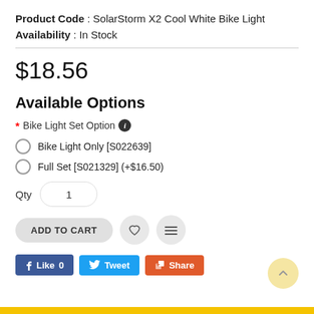Product Code : SolarStorm X2 Cool White Bike Light
Availability : In Stock
$18.56
Available Options
* Bike Light Set Option ℹ
Bike Light Only [S022639]
Full Set [S021329] (+$16.50)
Qty  1
ADD TO CART
Like 0  Tweet  Share